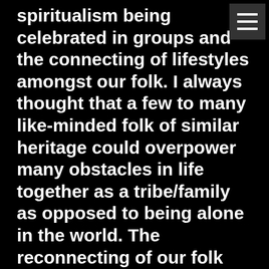spiritualism being celebrated in groups and the connecting of lifestyles amongst our folk. I always thought that a few to many like-minded folk of similar heritage could overpower many obstacles in life together as a tribe/family as opposed to being alone in the world. The reconnecting of our folk soul and the growth of Europeans answering the ancient call to tribalism has been the most enlightening thing that has happened over the last few years.
[Figure (photo): Blurred outdoor photo showing multiple people in a dark green environment, figures silhouetted against a green background]